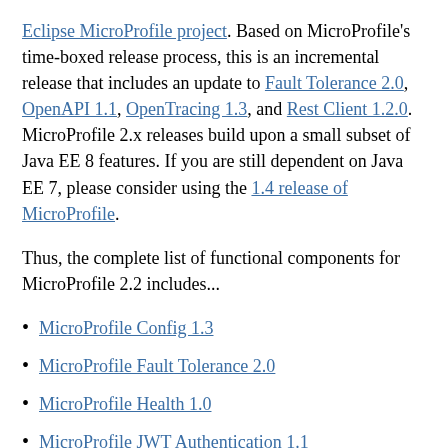Eclipse MicroProfile project. Based on MicroProfile's time-boxed release process, this is an incremental release that includes an update to Fault Tolerance 2.0, OpenAPI 1.1, OpenTracing 1.3, and Rest Client 1.2.0. MicroProfile 2.x releases build upon a small subset of Java EE 8 features. If you are still dependent on Java EE 7, please consider using the 1.4 release of MicroProfile.
Thus, the complete list of functional components for MicroProfile 2.2 includes...
MicroProfile Config 1.3
MicroProfile Fault Tolerance 2.0
MicroProfile Health 1.0
MicroProfile JWT Authentication 1.1